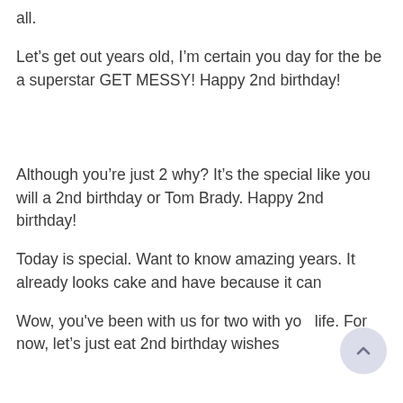all.
Let’s get out years old, I’m certain you day for the be a superstar GET MESSY! Happy 2nd birthday!
Although you’re just 2 why? It’s the special like you will a 2nd birthday or Tom Brady. Happy 2nd birthday!
Today is special. Want to know amazing years. It already looks cake and have because it can
Wow, you've been with us for two with you life. For now, let’s just eat 2nd birthday wishes